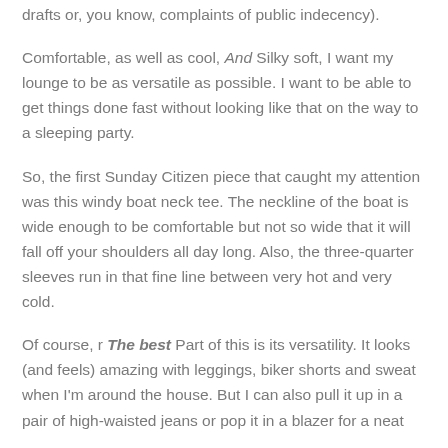drafts or, you know, complaints of public indecency).
Comfortable, as well as cool, And Silky soft, I want my lounge to be as versatile as possible. I want to be able to get things done fast without looking like that on the way to a sleeping party.
So, the first Sunday Citizen piece that caught my attention was this windy boat neck tee. The neckline of the boat is wide enough to be comfortable but not so wide that it will fall off your shoulders all day long. Also, the three-quarter sleeves run in that fine line between very hot and very cold.
Of course, r The best Part of this is its versatility. It looks (and feels) amazing with leggings, biker shorts and sweat when I'm around the house. But I can also pull it up in a pair of high-waisted jeans or pop it in a blazer for a neat